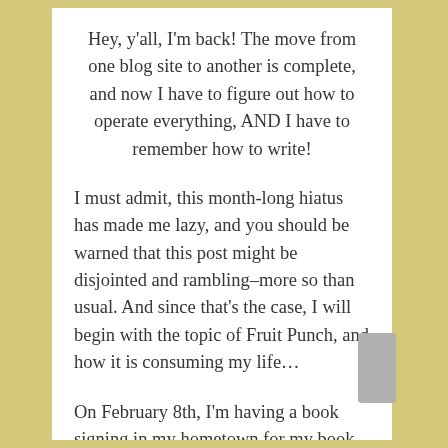Hey, y'all, I'm back! The move from one blog site to another is complete, and now I have to figure out how to operate everything, AND I have to remember how to write!
I must admit, this month-long hiatus has made me lazy, and you should be warned that this post might be disjointed and rambling–more so than usual. And since that's the case, I will begin with the topic of Fruit Punch, and how it is consuming my life…
On February 8th, I'm having a book signing in my hometown for my book A Southern Girl Re-Belles. In the planning